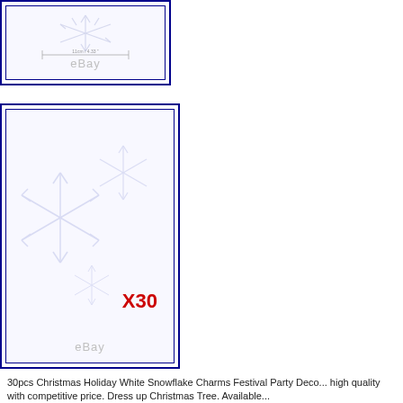[Figure (photo): Product image showing a white snowflake charm against white background with dimension line showing 11cm/4.33 inches and eBay watermark]
[Figure (photo): Product image showing multiple white snowflake charms against white background with X30 quantity label in red and eBay watermark]
30pcs Christmas Holiday White Snowflake Charms Festival Party Deco... high quality with competitive price. Dress up Christmas Tree. Available...